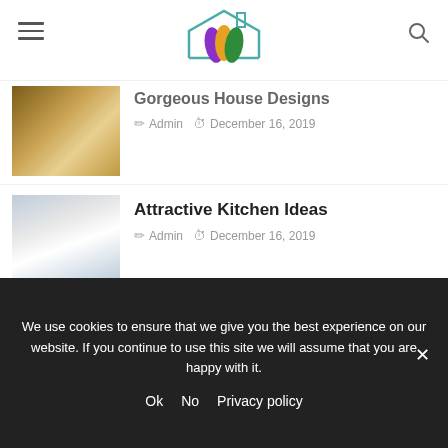[Logo: home design site] [hamburger menu] [search icon]
Gorgeous House Designs
Admin  December 16, 2019
Attractive Kitchen Ideas
Admin  December 16, 2019
Amazing Kitchen Trends
Admin  December 16, 2019
Stylish Kitchen Ideas
We use cookies to ensure that we give you the best experience on our website. If you continue to use this site we will assume that you are happy with it.
Ok  No  Privacy policy